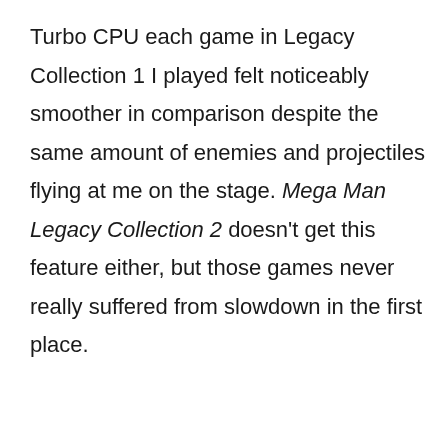Turbo CPU each game in Legacy Collection 1 I played felt noticeably smoother in comparison despite the same amount of enemies and projectiles flying at me on the stage. Mega Man Legacy Collection 2 doesn't get this feature either, but those games never really suffered from slowdown in the first place.